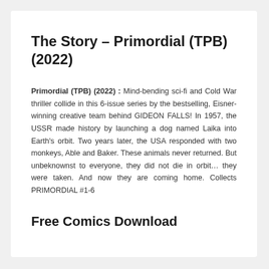The Story – Primordial (TPB) (2022)
Primordial (TPB) (2022) : Mind-bending sci-fi and Cold War thriller collide in this 6-issue series by the bestselling, Eisner-winning creative team behind GIDEON FALLS! In 1957, the USSR made history by launching a dog named Laika into Earth's orbit. Two years later, the USA responded with two monkeys, Able and Baker. These animals never returned. But unbeknownst to everyone, they did not die in orbit… they were taken. And now they are coming home. Collects PRIMORDIAL #1-6
Free Comics Download